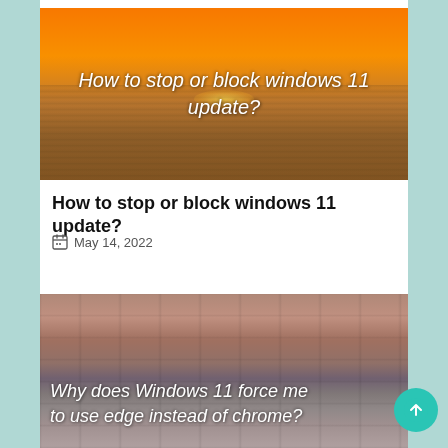[Figure (photo): Sunset over water with orange sky, overlaid text: 'How to stop or block windows 11 update?']
How to stop or block windows 11 update?
May 14, 2022
[Figure (photo): Brick wall background with overlaid italic text: 'Why does Windows 11 force me to use edge instead of chrome?']